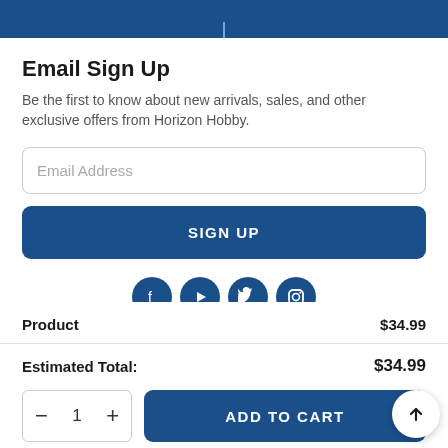Email Sign Up
Be the first to know about new arrivals, sales, and other exclusive offers from Horizon Hobby.
Email Address
SIGN UP
[Figure (illustration): Row of four circular social media icon buttons (Facebook, YouTube, Twitter, Instagram) in navy blue]
| Product | $34.99 |
| --- | --- |
| Estimated Total: | $34.99 |
ADD TO CART